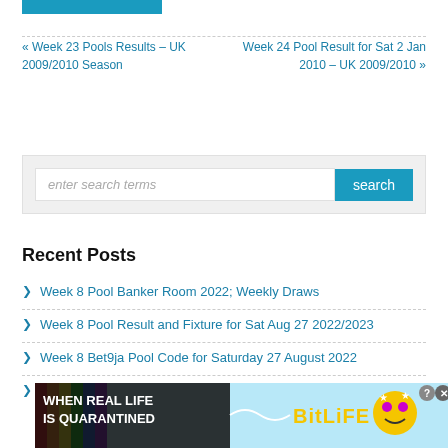[Figure (other): Blue horizontal bar at top of page]
« Week 23 Pools Results – UK 2009/2010 Season
Week 24 Pool Result for Sat 2 Jan 2010 – UK 2009/2010 »
[Figure (other): Search box with text field showing 'enter search terms' and a blue 'search' button]
Recent Posts
Week 8 Pool Banker Room 2022; Weekly Draws
Week 8 Pool Result and Fixture for Sat Aug 27 2022/2023
Week 8 Bet9ja Pool Code for Saturday 27 August 2022
Week 8 Pool RSK Papers 2022: Soccer, Bob Morton, Capital Intl,
[Figure (photo): BitLife advertisement banner with rainbow colors and text 'WHEN REAL LIFE IS QUARANTINED']